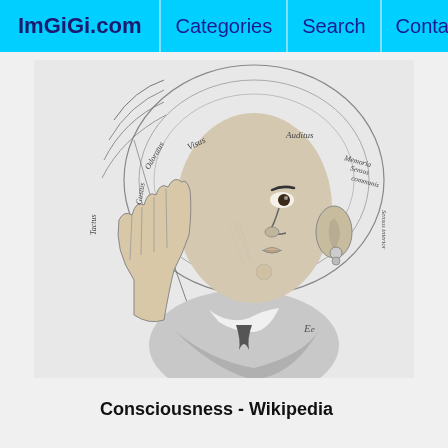ImGiGi.com | Categories | Search | Contact
[Figure (illustration): Historical engraving of a person in profile view with a diagram of the senses (Tactus, Visus, Odoratus, Gustus, Auditus, Memoria/Sensus communis) drawn on a halo-like circle around the head. The person holds one hand raised. Latin labels annotate different regions of the brain/senses. Letter 'Ee' appears on shoulder.]
Consciousness - Wikipedia